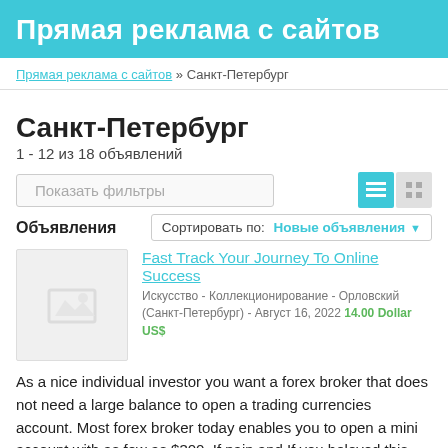Прямая реклама с сайтов
Прямая реклама с сайтов » Санкт-Петербург
Санкт-Петербург
1 - 12 из 18 объявлений
Показать фильтры
Объявления   Сортировать по: Новые объявления
Fast Track Your Journey To Online Success
Искусство - Коллекционирование - Орловский (Санкт-Петербург) - Август 16, 2022 14.00 Dollar US$
As a nice individual investor you want a forex broker that does not need a large balance to open a trading currencies account. Most forex broker today enables you to open a mini account with as few as $300. If pain and If you beloved this posting and...